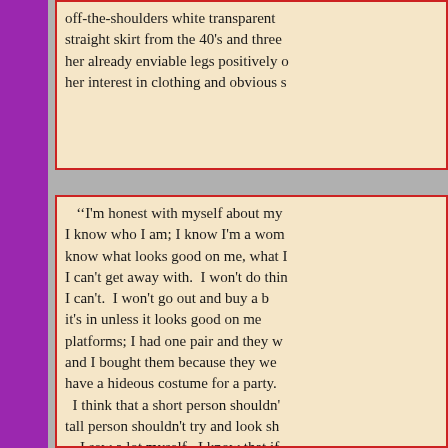off-the-shoulders white transparent straight skirt from the 40's and three her already enviable legs positively o her interest in clothing and obvious s
''I'm honest with myself about my I know who I am; I know I'm a wom know what looks good on me, what I I can't get away with. I won't do thin I can't. I won't go out and buy a b it's in unless it looks good on me platforms; I had one pair and they w and I bought them because they we have a hideous costume for a party. I think that a short person shouldn' tall person shouldn't try and look sh I sew a lot myself. I know that if in a hurry, I can always go to Stage Bar or La Boca. I can always get a l the Wild Pair. When I go to Califo York, they have a couple of shops th I have one dress from the '30s; one one dress from the 40's. And I have the 40's. I have a western cut red